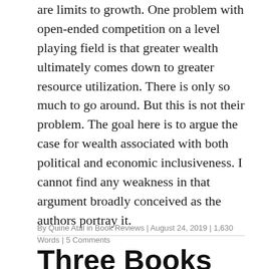are limits to growth. One problem with open-ended competition on a level playing field is that greater wealth ultimately comes down to greater resource utilization. There is only so much to go around. But this is not their problem. The goal here is to argue the case for wealth associated with both political and economic inclusiveness. I cannot find any weakness in that argument broadly conceived as the authors portray it.
By Quine Atal in Book Reviews | August 24, 2019 | 1,630 Words | 5 Comments
Three Books on the World Order...